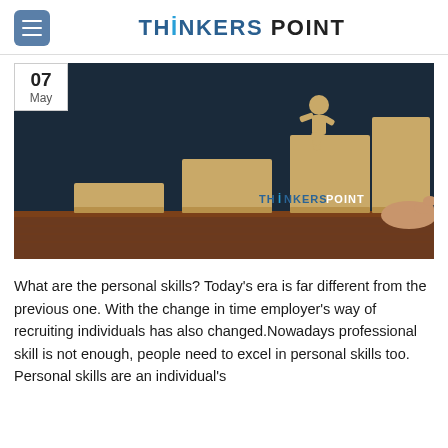THINKERS POINT
[Figure (photo): Person climbing wooden block staircase, silhouette figure stepping up ascending steps held by a hand, dark blue background with wood table. Watermark: THINKERS POINT. Date badge: 07 May.]
What are the personal skills? Today's era is far different from the previous one. With the change in time employer's way of recruiting individuals has also changed.Nowadays professional skill is not enough, people need to excel in personal skills too. Personal skills are an individual's